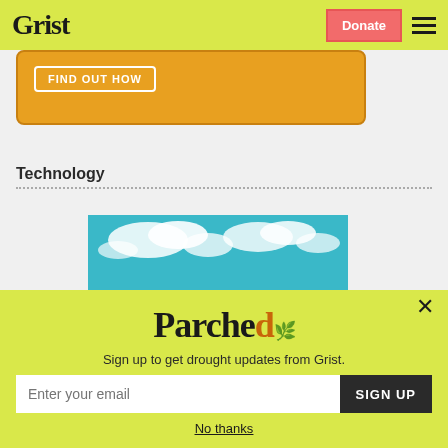Grist | Donate
[Figure (screenshot): Orange banner with FIND OUT HOW button]
Technology
[Figure (photo): Blue sky with clouds]
Parched
Sign up to get drought updates from Grist.
Enter your email | SIGN UP
No thanks